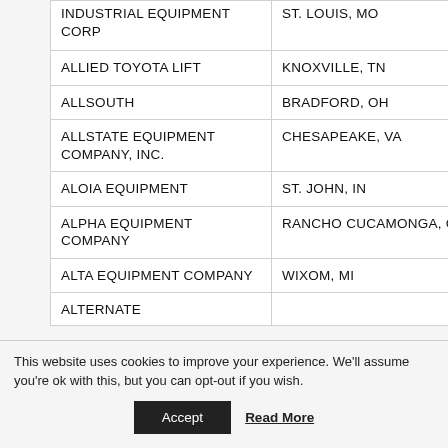|  | Company | Location |
| --- | --- | --- |
|  | INDUSTRIAL EQUIPMENT CORP | ST. LOUIS, MO |
|  | ALLIED TOYOTA LIFT | KNOXVILLE, TN |
|  | ALLSOUTH | BRADFORD, OH |
|  | ALLSTATE EQUIPMENT COMPANY, INC. | CHESAPEAKE, VA |
|  | ALOIA EQUIPMENT | ST. JOHN, IN |
|  | ALPHA EQUIPMENT COMPANY | RANCHO CUCAMONGA, CA |
|  | ALTA EQUIPMENT COMPANY | WIXOM, MI |
|  | ALTERNATE |  |
This website uses cookies to improve your experience. We'll assume you're ok with this, but you can opt-out if you wish.